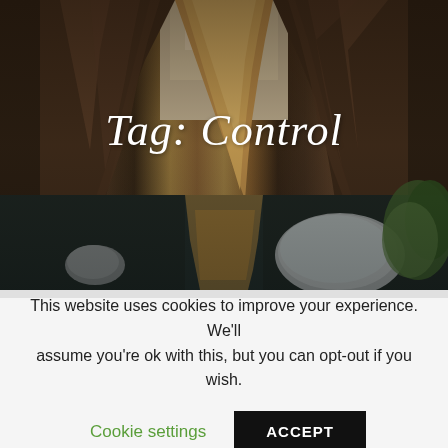[Figure (photo): A scenic canyon with tall rocky walls on both sides, a calm river or water body reflecting golden light running through the center, with boulders and sparse vegetation visible.]
Tag: Control
This website uses cookies to improve your experience. We'll assume you're ok with this, but you can opt-out if you wish.
Cookie settings
ACCEPT